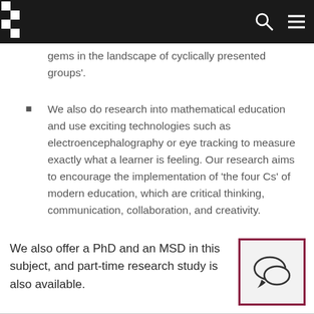gems in the landscape of cyclically presented groups'.
We also do research into mathematical education and use exciting technologies such as electroencephalography or eye tracking to measure exactly what a learner is feeling. Our research aims to encourage the implementation of 'the four Cs' of modern education, which are critical thinking, communication, collaboration, and creativity.
We also offer a PhD and an MSD in this subject, and part-time research study is also available.
[Figure (illustration): Chat/speech bubble icon inside a bordered box with dark red/maroon border]